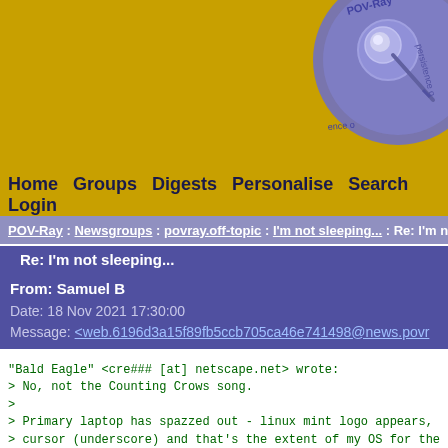[Figure (logo): POV-Ray website header banner with gold/yellow background and a blue circular logo/badge in the upper right corner featuring a key/pin graphic and text 'POV-Ray persistence of...']
Home  Groups  Digests  Personalise  Search  Login
POV-Ray : Newsgroups : povray.off-topic : I'm not sleeping... : Re: I'm not
Re: I'm not sleeping...
From: Samuel B
Date: 18 Nov 2021 17:30:00
Message: <web.6196d3a15f89fb5ccb705ca46e741498@news.povr
"Bald Eagle" <cre### [at] netscape.net> wrote:
> No, not the Counting Crows song.
>
> Primary laptop has spazzed out - linux mint logo appears,
> cursor (underscore) and that's the extent of my OS for the
> not dead - I can boot up with a USB stick and access all t
> I think it has something to do with video...  but not sure
> back to a default state.
>
> My backup laptop (this) boots up fine, but frequently I fi
> unresponsive black screen in the morning, and have to rebo
>
> So, those are (some of) the challenges I'm experiencing ri

Hi Bald Eagle,

Wow, that really sucks.